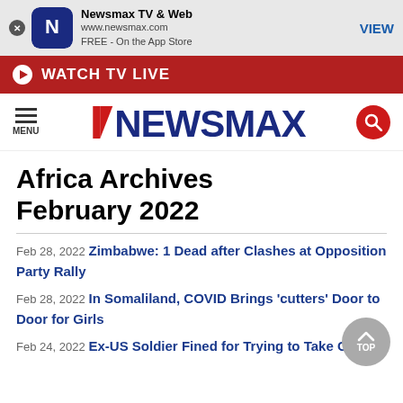[Figure (screenshot): Newsmax app banner with close button, app icon, title 'Newsmax TV & Web', URL and store info, and VIEW button]
[Figure (infographic): Red WATCH TV LIVE banner with play icon]
[Figure (logo): Newsmax logo with hamburger menu and search icon]
Africa Archives February 2022
Feb 28, 2022 Zimbabwe: 1 Dead after Clashes at Opposition Party Rally
Feb 28, 2022 In Somaliland, COVID Brings 'cutters' Door to Door for Girls
Feb 24, 2022 Ex-US Soldier Fined for Trying to Take Gun on